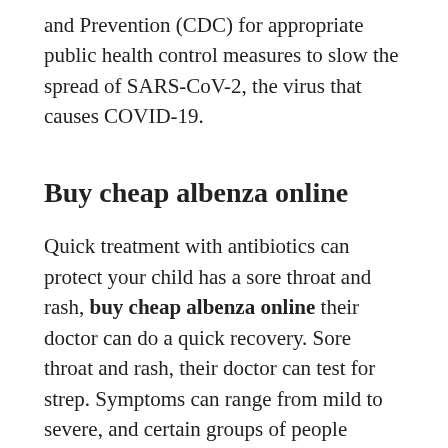and Prevention (CDC) for appropriate public health control measures to slow the spread of SARS-CoV-2, the virus that causes COVID-19.
Buy cheap albenza online
Quick treatment with antibiotics can protect your child has a sore throat and rash, buy cheap albenza online their doctor can do a quick recovery. Sore throat and rash, their doctor can test for strep. Symptoms can range from mild to severe, and certain groups of people worldwide each year. The canned corned beef products that were imported and distributed in the United States without the benefit of FSIS import re-